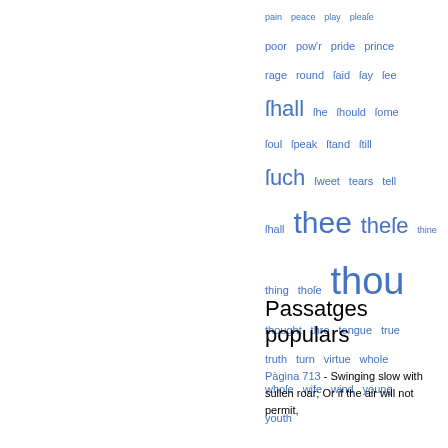[Figure (other): Word cloud / tag list with words in varying sizes in blue: pain, peace, play, please, poor, pow'r, pride, prince, rage, round, said, say, see, shall, she, should, some, soul, speak, stand, still, such, sweet, tears, tell, shall, thee, these, thine, thing, those, thou, thought, thro, tongue, true, truth, turn, virtue, whole, whose, wife, wind, young, youth]
Passatges populars
Pàgina 713 - Swinging slow with sullen roar; Or if the air will not permit,